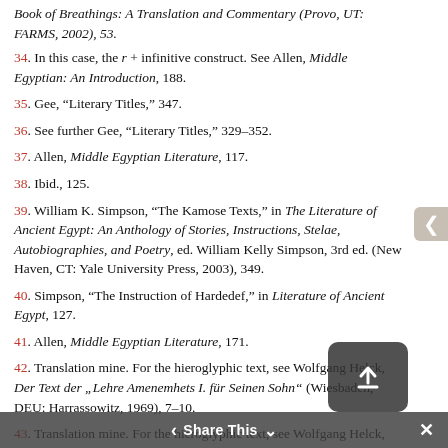Book of Breathings: A Translation and Commentary (Provo, UT: FARMS, 2002), 53.
34. In this case, the r + infinitive construct. See Allen, Middle Egyptian: An Introduction, 188.
35. Gee, “Literary Titles,” 347.
36. See further Gee, “Literary Titles,” 329–352.
37. Allen, Middle Egyptian Literature, 117.
38. Ibid., 125.
39. William K. Simpson, “The Kamose Texts,” in The Literature of Ancient Egypt: An Anthology of Stories, Instructions, Stelae, Autobiographies, and Poetry, ed. William Kelly Simpson, 3rd ed. (New Haven, CT: Yale University Press, 2003), 349.
40. Simpson, “The Instruction of Hardedef,” in Literature of Ancient Egypt, 127.
41. Allen, Middle Egyptian Literature, 171.
42. Translation mine. For the hieroglyphic text, see Wolfgang Helck, Der Text der „Lehre Amenemhets I. für Seinen Sohn“ (Wiesbaden, DEU: Harrassowitz, 1969), 7–10.
43. Translation mine. For the hieroglyphic text, see Wolfgang Helck, Die Lehre des dwA-xtjj (Wiesbaden, DEU: Harrassowitz, 1970), 12–13, 19.